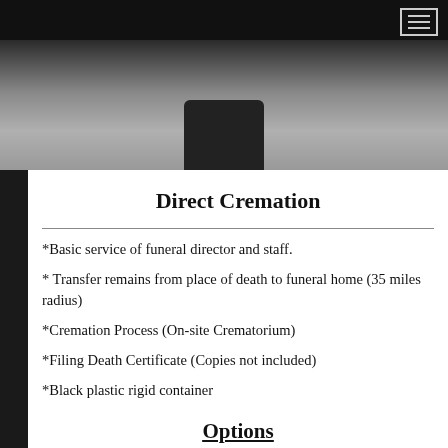[Figure (photo): Black cremation urn on a light gray background, partially visible at top of page]
Direct Cremation
*Basic service of funeral director and staff.
* Transfer remains from place of death to funeral home (35 miles radius)
*Cremation Process (On-site Crematorium)
*Filing Death Certificate (Copies not included)
*Black plastic rigid container
Options
*16X20 Photo enlarge